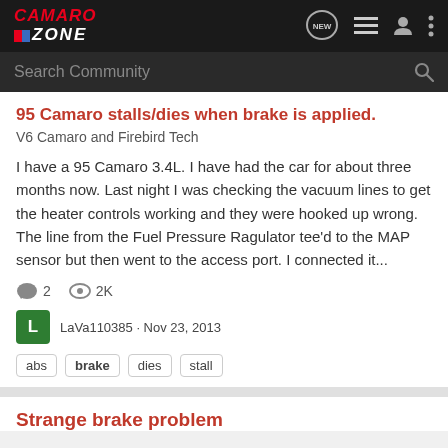Camaro Zone
95 Camaro stalls/dies when brake is applied.
V6 Camaro and Firebird Tech
I have a 95 Camaro 3.4L. I have had the car for about three months now. Last night I was checking the vacuum lines to get the heater controls working and they were hooked up wrong. The line from the Fuel Pressure Ragulator tee'd to the MAP sensor but then went to the access port. I connected it...
2 comments · 2K views
LaVa110385 · Nov 23, 2013
abs  brake  dies  stall
Strange brake problem